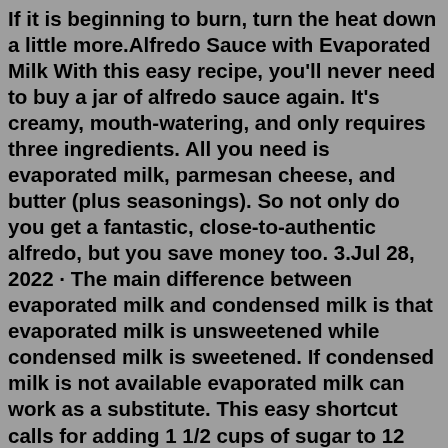If it is beginning to burn, turn the heat down a little more.Alfredo Sauce with Evaporated Milk With this easy recipe, you'll never need to buy a jar of alfredo sauce again. It's creamy, mouth-watering, and only requires three ingredients. All you need is evaporated milk, parmesan cheese, and butter (plus seasonings). So not only do you get a fantastic, close-to-authentic alfredo, but you save money too. 3.Jul 28, 2022 · The main difference between evaporated milk and condensed milk is that evaporated milk is unsweetened while condensed milk is sweetened. If condensed milk is not available evaporated milk can work as a substitute. This easy shortcut calls for adding 1 1/2 cups of sugar to 12 ounces of evaporated milk. Bring the mixture to a boil, cooking until the sugar is dissolved and the mixture is slightly thickened, and you've got homemade condensed milk (via Allrecipes ). Another substitute can be made with nonfat dry milk powder, which is a really handy shelf ...A simple fudge recipe that is made with evaporated milk is a real, from-scratch milk. It has a great chocolat...